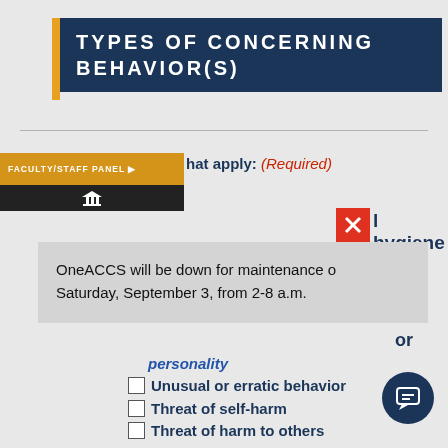TYPES OF CONCERNING BEHAVIOR(S)
Check all that apply: (Required)
FACULTY/STAFF PANEL
OneACSS will be down for maintenance on Saturday, September 3, from 2-8 a.m.
personality
Unusual or erratic behavior
Threat of self-harm
Threat of harm to others
Visible injuries, cuts, burns, etc.
Farewell statements alluding to not seeing people again